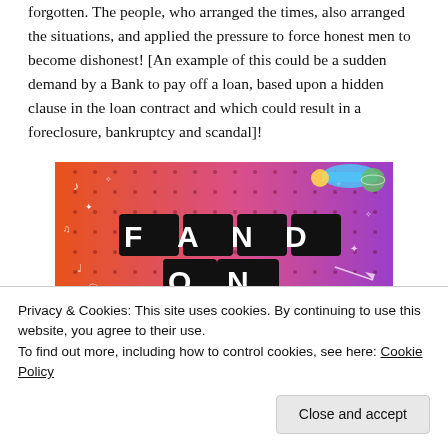forgotten. The people, who arranged the times, also arranged the situations, and applied the pressure to force honest men to become dishonest! [An example of this could be a sudden demand by a Bank to pay off a loan, based upon a hidden clause in the loan contract and which could result in a foreclosure, bankruptcy and scandal]!
[Figure (illustration): Fandom on Tumblr promotional banner image with colorful orange-to-purple gradient background, doodle icons, and bold text reading 'FANDOM ON tumblr']
Privacy & Cookies: This site uses cookies. By continuing to use this website, you agree to their use.
To find out more, including how to control cookies, see here: Cookie Policy
Close and accept